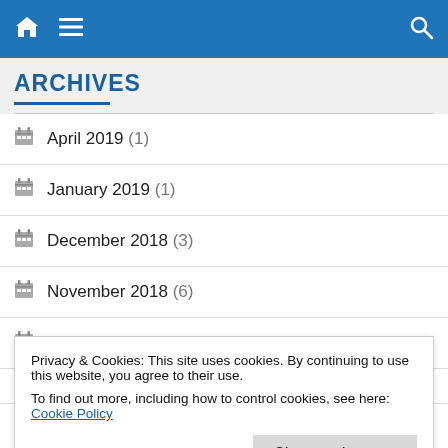Navigation bar with home, menu, and search icons
ARCHIVES
April 2019 (1)
January 2019 (1)
December 2018 (3)
November 2018 (6)
October 2018 (1)
April 2018 (1)
Privacy & Cookies: This site uses cookies. By continuing to use this website, you agree to their use. To find out more, including how to control cookies, see here: Cookie Policy
Close and accept
September 2016 (1)